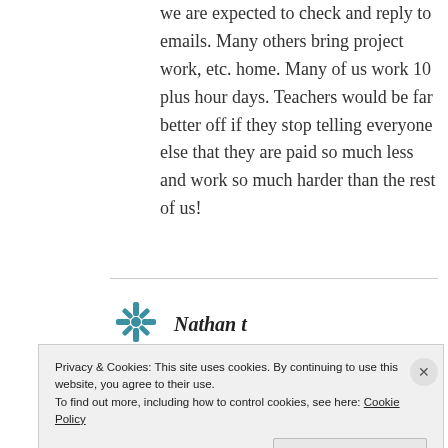we are expected to check and reply to emails. Many others bring project work, etc. home. Many of us work 10 plus hour days. Teachers would be far better off if they stop telling everyone else that they are paid so much less and work so much harder than the rest of us!
[Figure (logo): Teal decorative icon resembling a stylized snowflake or asterisk shape]
Nathan t
Privacy & Cookies: This site uses cookies. By continuing to use this website, you agree to their use.
To find out more, including how to control cookies, see here: Cookie Policy